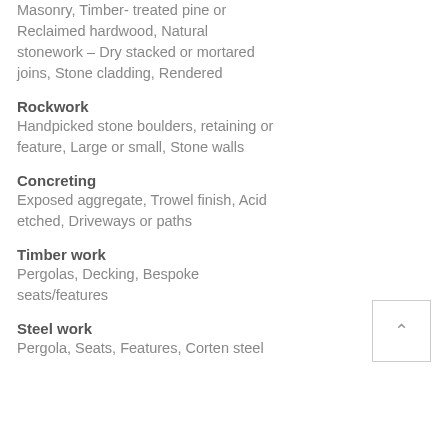Masonry, Timber- treated pine or Reclaimed hardwood, Natural stonework – Dry stacked or mortared joins, Stone cladding, Rendered
Rockwork
Handpicked stone boulders, retaining or feature, Large or small, Stone walls
Concreting
Exposed aggregate, Trowel finish, Acid etched, Driveways or paths
Timber work
Pergolas, Decking, Bespoke seats/features
Steel work
Pergola, Seats, Features, Corten steel